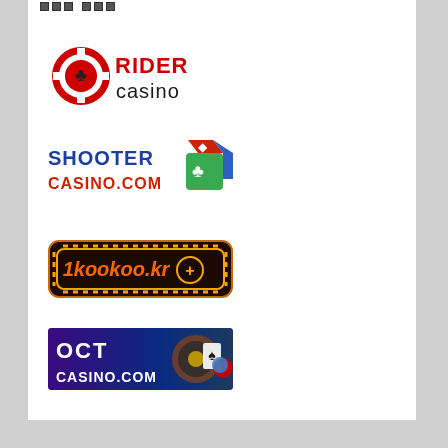[Figure (logo): Rider Casino logo with red and black casino chip and red RIDER text with black casino text]
[Figure (logo): Shooter Casino.com logo with blue and red text and colorful dice]
[Figure (logo): 1kookoo.kr logo with golden dotted border on dark background with orange italic text]
[Figure (logo): OCT Casino.com banner with purple/blue background, roulette wheel, cards, chips]